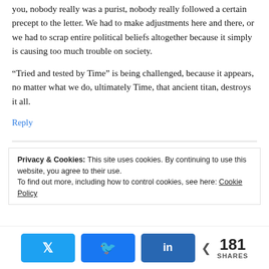you, nobody really was a purist, nobody really followed a certain precept to the letter. We had to make adjustments here and there, or we had to scrap entire political beliefs altogether because it simply is causing too much trouble on society.
“Tried and tested by Time” is being challenged, because it appears, no matter what we do, ultimately Time, that ancient titan, destroys it all.
Reply
Privacy & Cookies: This site uses cookies. By continuing to use this website, you agree to their use.
To find out more, including how to control cookies, see here: Cookie Policy
181 SHARES